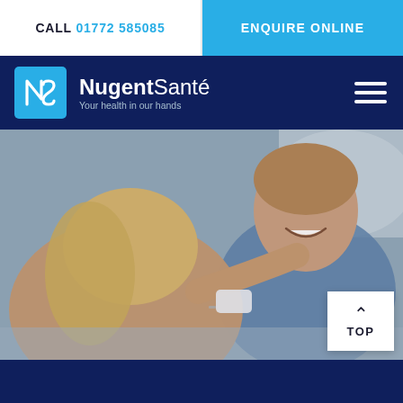CALL 01772 585085 | ENQUIRE ONLINE
[Figure (logo): NugentSanté logo with cyan square icon containing NS initials, brand name and tagline 'Your health in our hands']
[Figure (photo): A woman hugging a man in a hospital bed who is smiling; medical device visible in the scene]
TOP